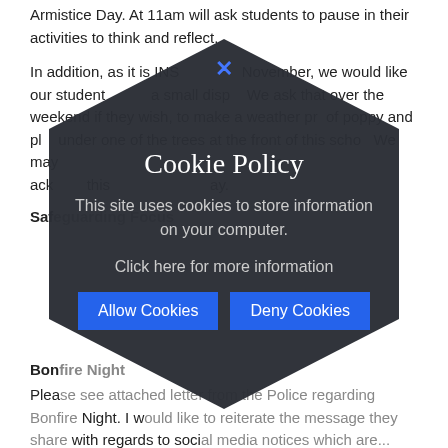Armistice Day. At 11am will ask students to pause in their activities to think and reflect.
In addition, as it is INSET day on Friday 8 November, we would like our students help us create a small display. We ask that over the weekend if they wish, to make a weather proof poppy and place it under one of the trees at the front of the school. We may also ask students, if they agree, we would like to acknowledge this remembrance in some way.
Safeguarding Focus
Bonfire Night
Please see attached letter from the Police regarding Bonfire Night. I would like to reiterate the message they share with regards to social media notices which are...
In recent weeks, in particular last weekend, there has been an increase in anti-social behaviour and public disorder. This behaviour will not be tolerated and partner agencies will be
[Figure (infographic): Cookie Policy overlay in a dark hexagon shape. Title: 'Cookie Policy'. Description: 'This site uses cookies to store information on your computer.' Link text: 'Click here for more information'. Two blue buttons: 'Allow Cookies' and 'Deny Cookies'. Blue X close button at top center.]